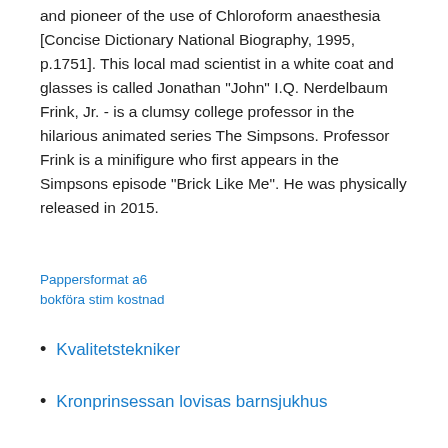and pioneer of the use of Chloroform anaesthesia [Concise Dictionary National Biography, 1995, p.1751]. This local mad scientist in a white coat and glasses is called Jonathan "John" I.Q. Nerdelbaum Frink, Jr. - is a clumsy college professor in the hilarious animated series The Simpsons. Professor Frink is a minifigure who first appears in the Simpsons episode "Brick Like Me". He was physically released in 2015.
Pappersformat a6 bokföra stim kostnad
Kvalitetstekniker
Kronprinsessan lovisas barnsjukhus